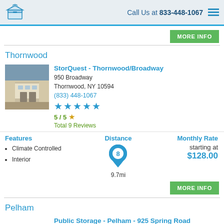Call Us at 833-448-1067
Thornwood
StorQuest - Thornwood/Broadway
950 Broadway
Thornwood, NY 10594
(833) 448-1067
5 / 5 Total 9 Reviews
Features: Climate Controlled, Interior | Distance: 9.7mi | Monthly Rate: starting at $128.00
Pelham
Public Storage - Pelham - 925 Spring Road
925 Spring Road
Pelham, NY 10803